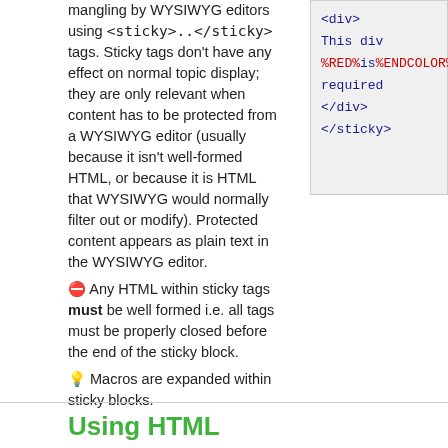mangling by WYSIWYG editors using <sticky>..</sticky> tags. Sticky tags don't have any effect on normal topic display; they are only relevant when content has to be protected from a WYSIWYG editor (usually because it isn't well-formed HTML, or because it is HTML that WYSIWYG would normally filter out or modify). Protected content appears as plain text in the WYSIWYG editor. ⛔ Any HTML within sticky tags must be well formed i.e. all tags must be properly closed before the end of the sticky block. 💡 Macros are expanded within sticky blocks.
[Figure (screenshot): Code block showing: <div> This div %RED%is%ENDCOLOR% required </div> </sticky>]
Using HTML